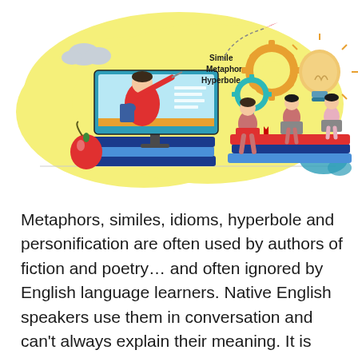[Figure (illustration): Educational illustration showing a teacher on a computer screen pointing to words 'Simile', 'Metaphor', 'Hyperbole', with students sitting on books using laptops, gears, a light bulb, an apple, clouds, and a paper airplane on a yellow background.]
Metaphors, similes, idioms, hyperbole and personification are often used by authors of fiction and poetry… and often ignored by English language learners. Native English speakers use them in conversation and can't always explain their meaning. It is important for Korean students to be able to identify figurative language and...